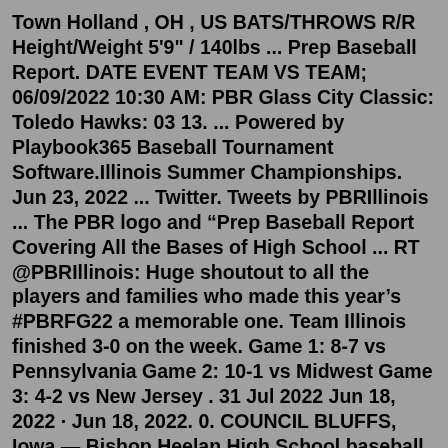Town Holland , OH , US BATS/THROWS R/R Height/Weight 5'9" / 140lbs ... Prep Baseball Report. DATE EVENT TEAM VS TEAM; 06/09/2022 10:30 AM: PBR Glass City Classic: Toledo Hawks: 03 13. ... Powered by Playbook365 Baseball Tournament Software.Illinois Summer Championships. Jun 23, 2022 ... Twitter. Tweets by PBRIllinois ... The PBR logo and “Prep Baseball Report Covering All the Bases of High School ... RT @PBRIllinois: Huge shoutout to all the players and families who made this year’s #PBRFG22 a memorable one. Team Illinois finished 3-0 on the week. Game 1: 8-7 vs Pennsylvania Game 2: 10-1 vs Midwest Game 3: 4-2 vs New Jersey . 31 Jul 2022 Jun 18, 2022 · Jun 18, 2022. 0. COUNCIL BLUFFS, Iowa — Bishop Heelan High School baseball coach Andy Osborne said after Friday's loss to Dowling Catholic that the team needed ti pick each other up. The ... A simple calculation that divides the athlete’s Exit Velocity Max by the athlete’s 60 Yard Dash time for the given event year. For example, 98